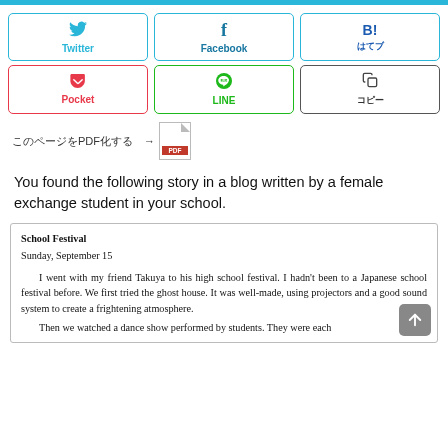[Figure (other): Social share buttons row 1: Twitter, Facebook, Hatena Bookmark]
[Figure (other): Social share buttons row 2: Pocket, LINE, Copy]
このページをPDF化する →  [PDF icon]
You found the following story in a blog written by a female exchange student in your school.
School Festival
Sunday, September 15

    I went with my friend Takuya to his high school festival. I hadn't been to a Japanese school festival before. We first tried the ghost house. It was well-made, using projectors and a good sound system to create a frightening atmosphere.
    Then we watched a dance show performed by students. They were each